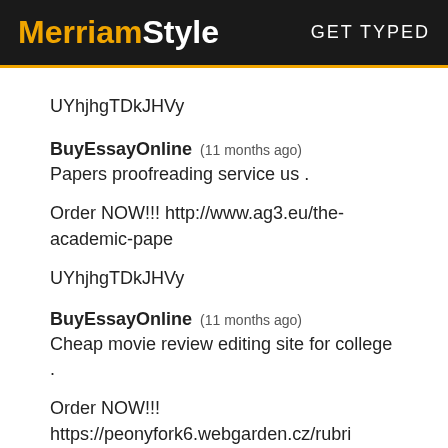MerriamStyle   GET TYPED
UYhjhgTDkJHVy
BuyEssayOnline   (11 months ago)
Papers proofreading service us .
Order NOW!!! http://www.ag3.eu/the-academic-pape
UYhjhgTDkJHVy
BuyEssayOnline   (11 months ago)
Cheap movie review editing site for college .
Order NOW!!! https://peonyfork6.webgarden.cz/rubri
UYhjhgTDkJHVy